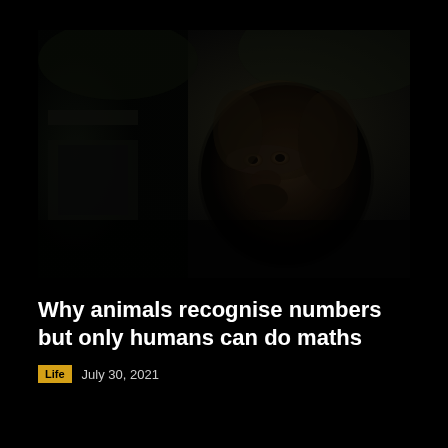[Figure (photo): Dark, low-light photograph of what appears to be a primate (orangutan or gorilla) face, mostly obscured in shadow with a dark background.]
Why animals recognise numbers but only humans can do maths
Life   July 30, 2021